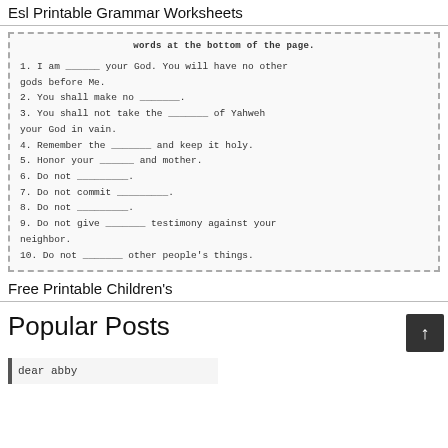Esl Printable Grammar Worksheets
[Figure (screenshot): A worksheet image with a dashed border showing fill-in-the-blank sentences about the Ten Commandments. Header reads 'words at the bottom of the page.' Sentences: 1. I am ___ your God. You will have no other gods before Me. 2. You shall make no ___. 3. You shall not take the ___ of Yahweh your God in vain. 4. Remember the ___ and keep it holy. 5. Honor your ___ and mother. 6. Do not ___. 7. Do not commit ___. 8. Do not ___. 9. Do not give ___ testimony against your neighbor. 10. Do not ___ other people's things.]
Free Printable Children's
Popular Posts
[Figure (screenshot): Thumbnail image showing 'dear abby' text in monospace font with a left border]